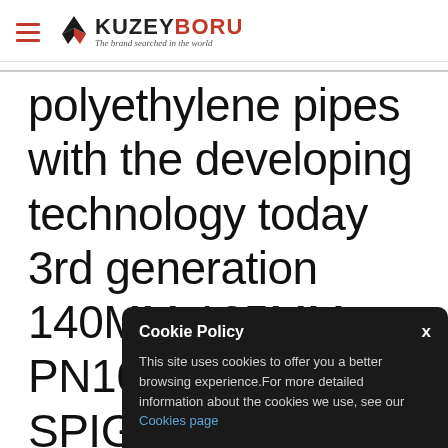KUZEYBORU — The brand searched in the world
polyethylene pipes with the developing technology today 3rd generation 140MM-125MM PN16 HDPE SPIGOT REDUCER raw material water line treatment biological
Cookie Policy
This site uses cookies to offer you a better browsing experience.For more detailed information about the cookies we use, see our Cookies page